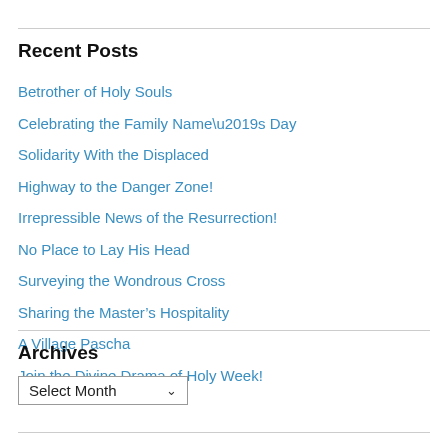Recent Posts
Betrother of Holy Souls
Celebrating the Family Name's Day
Solidarity With the Displaced
Highway to the Danger Zone!
Irrepressible News of the Resurrection!
No Place to Lay His Head
Surveying the Wondrous Cross
Sharing the Master’s Hospitality
A Village Pascha
Join the Divine Drama of Holy Week!
Archives
Select Month